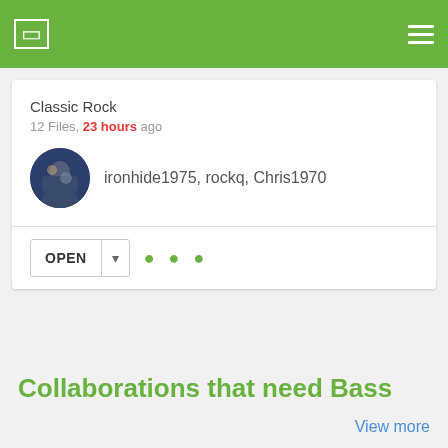Classic Rock app header with menu icon
Classic Rock
12 Files, 23 hours ago
ironhide1975, rockq, Chris1970
OPEN
Collaborations that need Bass
View more